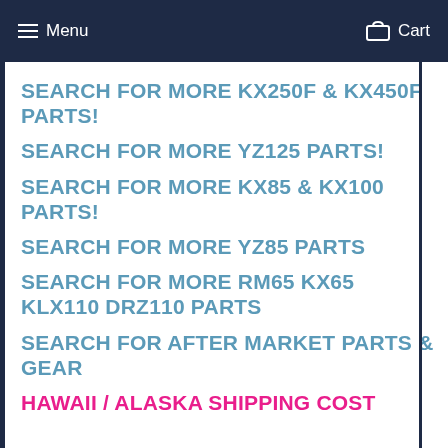Menu  Cart
SEARCH FOR MORE KX250F & KX450F PARTS!
SEARCH FOR MORE YZ125 PARTS!
SEARCH FOR MORE KX85 & KX100 PARTS!
SEARCH FOR MORE YZ85 PARTS
SEARCH FOR MORE RM65 KX65 KLX110 DRZ110 PARTS
SEARCH FOR AFTER MARKET PARTS & GEAR
HAWAII / ALASKA SHIPPING COST